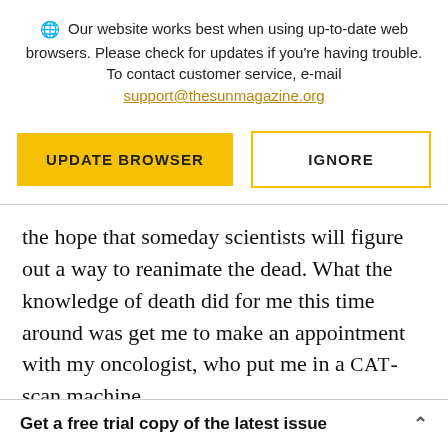Our website works best when using up-to-date web browsers. Please check for updates if you're having trouble. To contact customer service, e-mail support@thesunmagazine.org
[Figure (other): Two buttons: 'UPDATE BROWSER' (filled yellow) and 'IGNORE' (yellow outline)]
the hope that someday scientists will figure out a way to reanimate the dead. What the knowledge of death did for me this time around was get me to make an appointment with my oncologist, who put me in a CAT-scan machine
Get a free trial copy of the latest issue